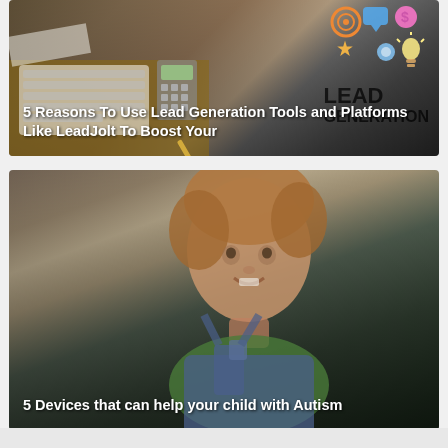[Figure (photo): Top card image showing a desk workspace scene with keyboard, calculator, and 'LEAD GENERATION' text overlay, with colorful icons above. Card has a title overlay.]
5 Reasons To Use Lead Generation Tools and Platforms Like LeadJolt To Boost Your
[Figure (photo): Bottom card image showing a smiling young child wearing green shirt and denim overalls, with a dark background. Card has a title overlay.]
5 Devices that can help your child with Autism